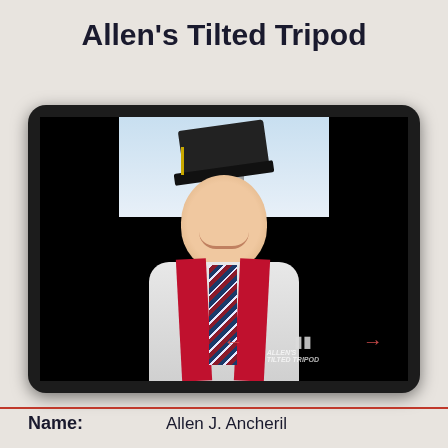Allen's Tilted Tripod
[Figure (photo): A tablet device displaying a graduation photo of a young man wearing a black mortarboard cap, red stole, striped tie, and white shirt, smiling at the camera. The photo has black bars on the sides and shows video playback controls (left arrow, pause, right arrow) at the bottom. A watermark reading 'ALLEN's TILTED TRIPOD' appears in the lower right.]
Name:   Allen J. Ancheril